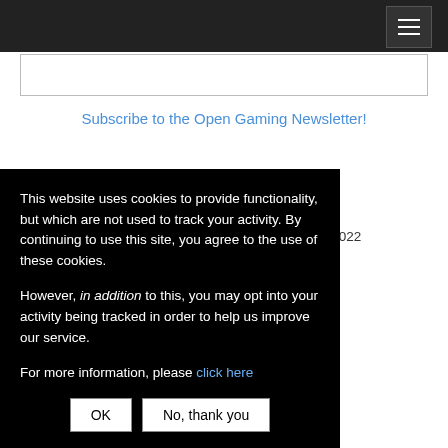Navigation bar with hamburger menu
Subscribe to the Open Gaming Newsletter!
Latest Pathfinder 2e!
Treasury of the Fleet (PF2) August 17, 2022
Read Magic - 1st Path Magic (PF2E) August 13, 2022
[truncated] , 2022
[truncated] (PF2) August 11,
[truncated] 29, 2022
This website uses cookies to provide functionality, but which are not used to track your activity. By continuing to use this site, you agree to the use of these cookies.

However, in addition to this, you may opt into your activity being tracked in order to help us improve our service.

For more information, please click here